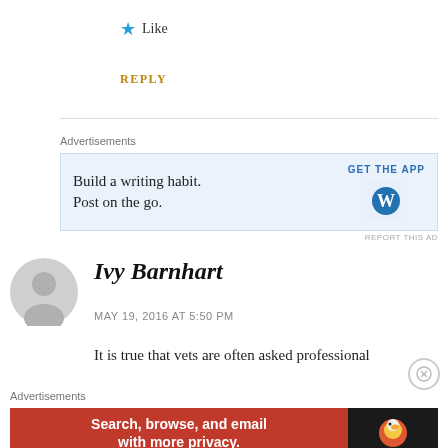★ Like
REPLY
[Figure (infographic): WordPress ad banner: 'Build a writing habit. Post on the go.' with GET THE APP button and WordPress logo]
[Figure (photo): Default grey user avatar silhouette]
Ivy Barnhart
MAY 19, 2016 AT 5:50 PM
It is true that vets are often asked professional
[Figure (infographic): DuckDuckGo ad banner: 'Search, browse, and email with more privacy. All in One Free App' with DuckDuckGo logo]